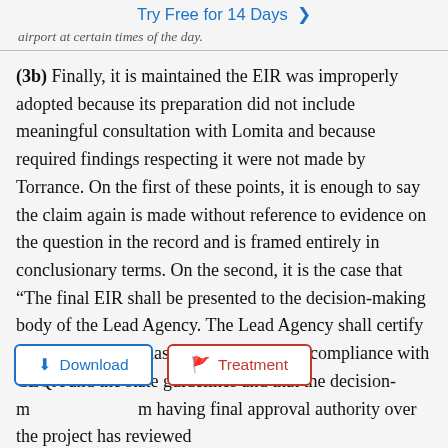Try Free for 14 Days >
airport at certain times of the day.
(3b) Finally, it is maintained the EIR was improperly adopted because its preparation did not include meaningful consultation with Lomita and because required findings respecting it were not made by Torrance. On the first of these points, it is enough to say the claim again is made without reference to evidence on the question in the record and is framed entirely in conclusionary terms. On the second, it is the case that “The final EIR shall be presented to the decision-making body of the Lead Agency. The Lead Agency shall certify that the final EIR has been completed in compliance with CEQA and the state guidelines and that the decision-making member having final approval authority over the project has reviewed